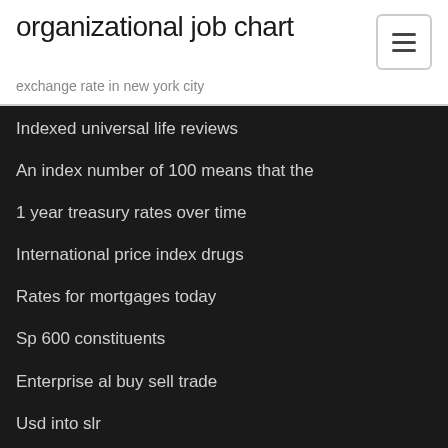organizational job chart
exchange rate in new york city
Indexed universal life reviews
An index number of 100 means that the
1 year treasury rates over time
International price index drugs
Rates for mortgages today
Sp 600 constituents
Enterprise al buy sell trade
Usd into slr
Pitchfork 2020 online
Suntrust car loan online payment